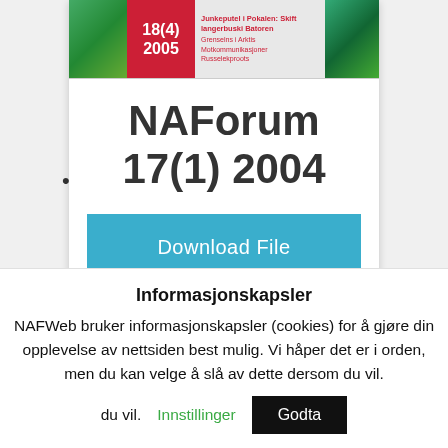[Figure (screenshot): Journal cover thumbnail showing NAForum 18(4) 2005 with red box logo, green nature images on left and right, and small red text in center area]
•
NAForum 17(1) 2004
[Figure (screenshot): Download File button in teal/cyan color with a dash below the text]
Informasjonskapsler
NAFWeb bruker informasjonskapsler (cookies) for å gjøre din opplevelse av nettsiden best mulig. Vi håper det er i orden, men du kan velge å slå av dette dersom du vil.
Innstillinger
Godta